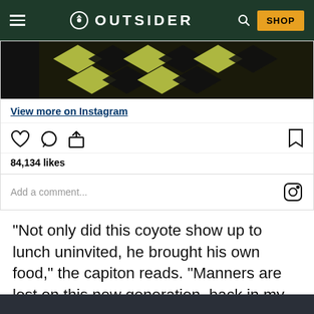OUTSIDER
[Figure (screenshot): Instagram embed showing a partial image of a coyote with patterned clothing/blanket, with 'View more on Instagram' link, action icons (like, comment, share, bookmark), 84,134 likes, and a comment input field with Instagram icon.]
“Not only did this coyote show up to lunch uninvited, he brought his own food,” the capiton reads. “Manners are lost on this new generation, back in my day a coyote would ask